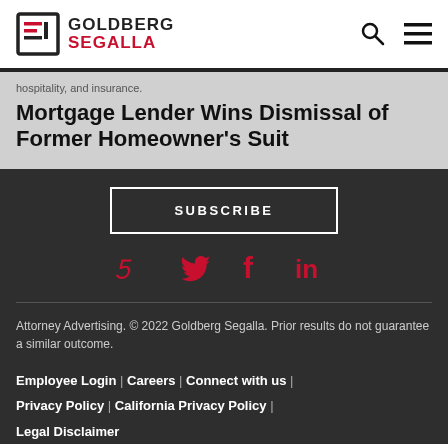Goldberg Segalla
hospitality, and insurance.
Mortgage Lender Wins Dismissal of Former Homeowner's Suit
SUBSCRIBE
[Figure (other): Social media icons: Twitter (bird), Facebook (f), LinkedIn (in) in red]
Attorney Advertising. © 2022 Goldberg Segalla. Prior results do not guarantee a similar outcome. Employee Login | Careers | Connect with us | Privacy Policy | California Privacy Policy | Legal Disclaimer